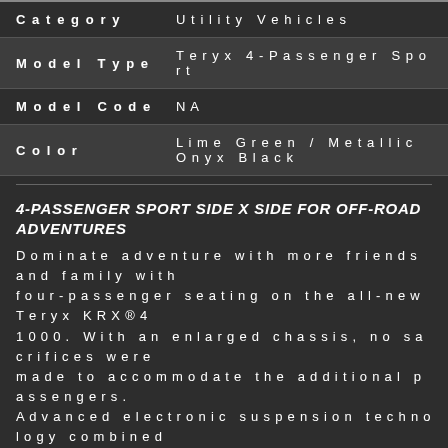| Category | Model Type | Model Code | Color |
| --- | --- | --- | --- |
| Category | Utility Vehicles |
| Model Type | Teryx 4-Passenger Sport |
| Model Code | NA |
| Color | Lime Green / Metallic Onyx Black |
4-PASSENGER SPORT SIDE X SIDE FOR OFF-ROAD ADVENTURES
Dominate adventure with more friends and family with four-passenger seating on the all-new Teryx KRX®4 1000. With an enlarged chassis, no sacrifices were made to accommodate the additional passengers. Advanced electronic suspension technology combined with beefy wheels and tires deliver the ultimate riding experience. The Teryx KRX4 1000 reinforces and elevates the reputation of purpose-built Kawasaki